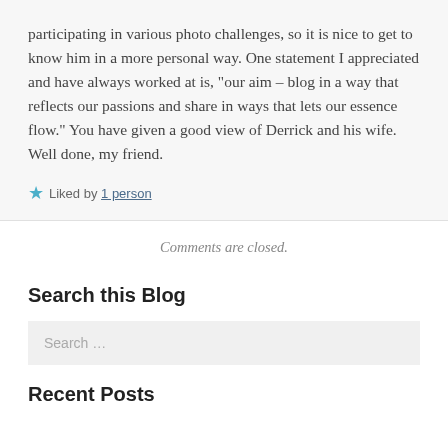participating in various photo challenges, so it is nice to get to know him in a more personal way. One statement I appreciated and have always worked at is, "our aim – blog in a way that reflects our passions and share in ways that lets our essence flow." You have given a good view of Derrick and his wife. Well done, my friend.
Liked by 1 person
Comments are closed.
Search this Blog
Search …
Recent Posts